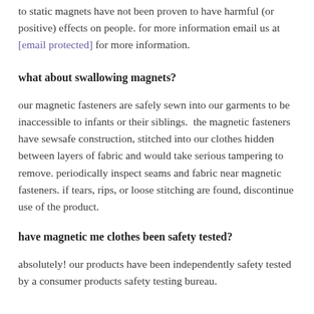to static magnets have not been proven to have harmful (or positive) effects on people. for more information email us at [email protected] for more information.
what about swallowing magnets?
our magnetic fasteners are safely sewn into our garments to be inaccessible to infants or their siblings.  the magnetic fasteners have sewsafe construction, stitched into our clothes hidden between layers of fabric and would take serious tampering to remove. periodically inspect seams and fabric near magnetic fasteners. if tears, rips, or loose stitching are found, discontinue use of the product.
have magnetic me clothes been safety tested?
absolutely! our products have been independently safety tested by a consumer products safety testing bureau.